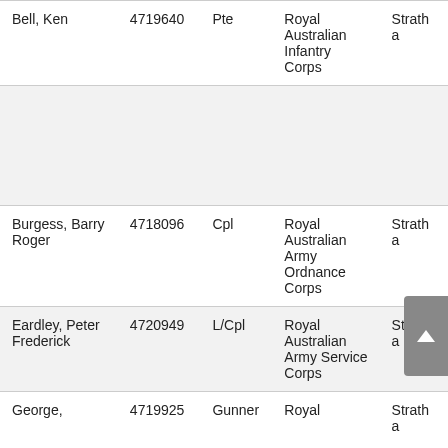| Name | Number | Rank | Unit | Location |
| --- | --- | --- | --- | --- |
| Bell, Ken | 4719640 | Pte | Royal Australian Infantry Corps | Stratha… |
|  |  |  |  |  |
| Burgess, Barry Roger | 4718096 | Cpl | Royal Australian Army Ordnance Corps | Stratha… |
| Eardley, Peter Frederick | 4720949 | L/Cpl | Royal Australian Army Service Corps | Stratha… |
| George, … | 4719925 | Gunner | Royal … | Stratha… |